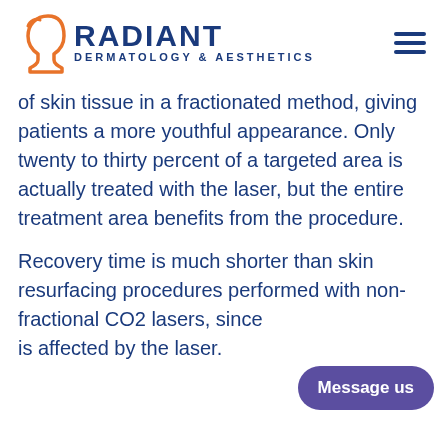RADIANT DERMATOLOGY & AESTHETICS
of skin tissue in a fractionated method, giving patients a more youthful appearance. Only twenty to thirty percent of a targeted area is actually treated with the laser, but the entire treatment area benefits from the procedure.
Recovery time is much shorter than skin resurfacing procedures performed with non-fractional CO2 lasers, since is affected by the laser.
Message us